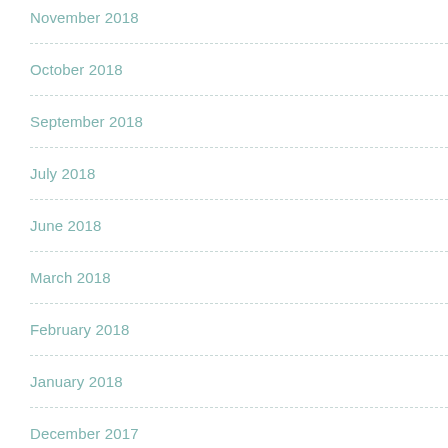November 2018
October 2018
September 2018
July 2018
June 2018
March 2018
February 2018
January 2018
December 2017
November 2017
October 2017